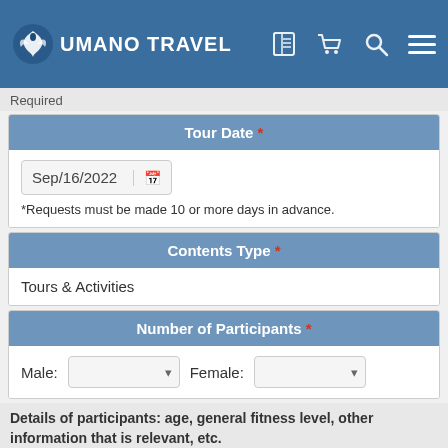UMANO TRAVEL
Required
Tour Date *
Sep/16/2022
*Requests must be made 10 or more days in advance.
Contents Type *
Tours & Activities
Number of Participants *
Male:   Female:
Details of participants: age, general fitness level, other information that is relevant, etc.
Cookies are used on this site to manage the shopping cart and for statistical purposes.